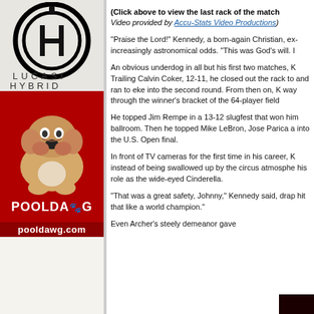[Figure (logo): Lucasi Hybrid logo — black circle with H and L letters, text LUCASI HYBRID below]
[Figure (photo): PoolDawg advertisement — bulldog photo on red background with PoolDawg logo and pooldawg.com]
(Click above to view the last rack of the match
Video provided by Accu-Stats Video Productions)
"Praise the Lord!" Kennedy, a born-again Christian, ex- increasingly astronomical odds. "This was God's will. I
An obvious underdog in all but his first two matches, K Trailing Calvin Coker, 12-11, he closed out the rack to and ran to eke into the second round. From then on, K way through the winner's bracket of the 64-player field
He topped Jim Rempe in a 13-12 slugfest that won him ballroom. Then he topped Mike LeBron, Jose Parica a into the U.S. Open final.
In front of TV cameras for the first time in his career, K instead of being swallowed up by the circus atmosphe his role as the wide-eyed Cinderella.
"That was a great safety, Johnny," Kennedy said, drap hit that like a world champion."
Even Archer's steely demeanor gave